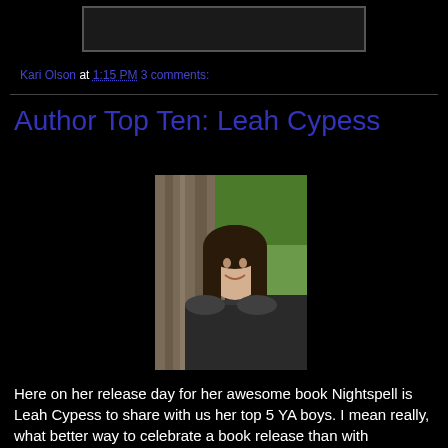[Figure (photo): A rectangular placeholder/banner image at the top of the page]
Kari Olson at 1:15 PM   3 comments:
Author Top Ten: Leah Cypess
[Figure (photo): Photo of Leah Cypess, a woman with dark brown shoulder-length hair, smiling, leaning against a tree with green grass/garden in background]
Here on her release day for her awesome book Nightspell is Leah Cypess to share with us her top 5 YA boys. I mean really, what better way to celebrate a book release than with